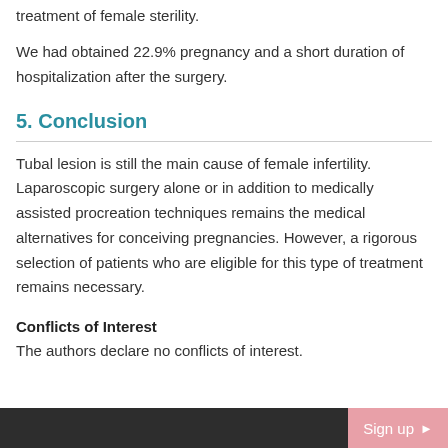treatment of female sterility.
We had obtained 22.9% pregnancy and a short duration of hospitalization after the surgery.
5. Conclusion
Tubal lesion is still the main cause of female infertility. Laparoscopic surgery alone or in addition to medically assisted procreation techniques remains the medical alternatives for conceiving pregnancies. However, a rigorous selection of patients who are eligible for this type of treatment remains necessary.
Conflicts of Interest
The authors declare no conflicts of interest.